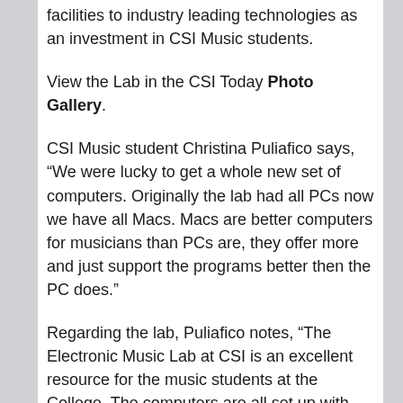facilities to industry leading technologies as an investment in CSI Music students.
View the Lab in the CSI Today Photo Gallery.
CSI Music student Christina Puliafico says, “We were lucky to get a whole new set of computers. Originally the lab had all PCs now we have all Macs. Macs are better computers for musicians than PCs are, they offer more and just support the programs better then the PC does.”
Regarding the lab, Puliafico notes, “The Electronic Music Lab at CSI is an excellent resource for the music students at the College. The computers are all set up with state-of-the-art technology for music notation, ear training, and different programs that allow you to create music through midi files and wave files. These resources allow us to keep up with the times. I remember when I used to write out sheet music by